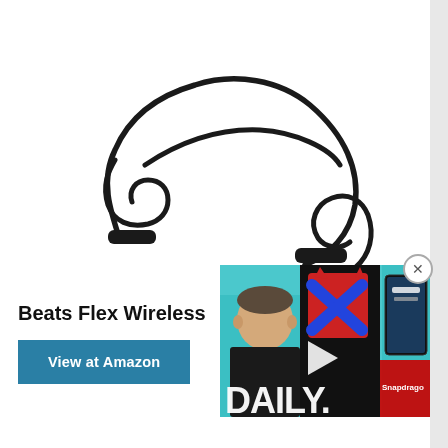[Figure (photo): Beats Flex Wireless earphones in black, showing the neckband cable with inline controls and earbuds, on a white background]
Beats Flex Wireless
View at Amazon
[Figure (screenshot): Video overlay thumbnail showing a tech YouTube video thumbnail with 'DAILY.' text, a presenter, Samsung Exynos chip graphic, a phone screen, Snapdragon logo, and a play button. Close (X) button in top right.]